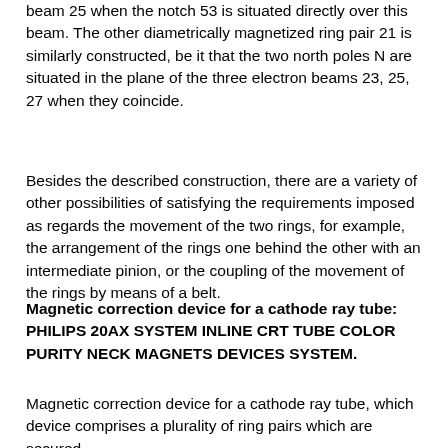beam 25 when the notch 53 is situated directly over this beam. The other diametrically magnetized ring pair 21 is similarly constructed, be it that the two north poles N are situated in the plane of the three electron beams 23, 25, 27 when they coincide.
Besides the described construction, there are a variety of other possibilities of satisfying the requirements imposed as regards the movement of the two rings, for example, the arrangement of the rings one behind the other with an intermediate pinion, or the coupling of the movement of the rings by means of a belt.
Magnetic correction device for a cathode ray tube: PHILIPS 20AX SYSTEM INLINE CRT TUBE COLOR PURITY NECK MAGNETS DEVICES SYSTEM.
Magnetic correction device for a cathode ray tube, which device comprises a plurality of ring pairs which are secured